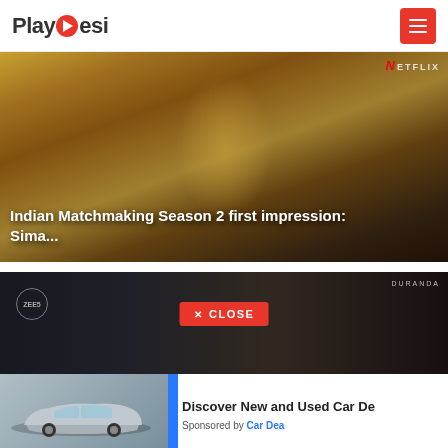PlayDesi
[Figure (photo): Indian Matchmaking Season 2 - woman in yellow and red outfit with hands raised, Netflix branded content]
Indian Matchmaking Season 2 first impression: Sima...
[Figure (screenshot): Dark background video card with Zee5 logo and DURANDA branding showing a young man]
✕ CLOSE
[Figure (photo): Advertisement showing a silver Ford Explorer SUV in a rocky mountain landscape]
Discover New and Used Car De
Sponsored by Car Dea